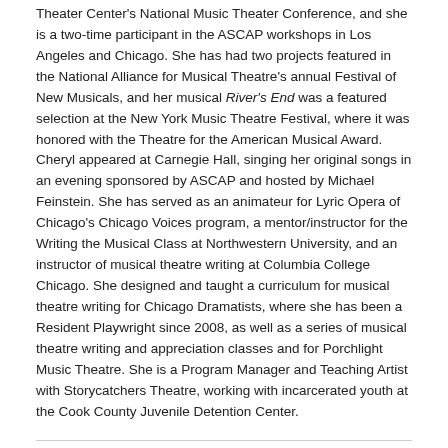Theater Center's National Music Theater Conference, and she is a two-time participant in the ASCAP workshops in Los Angeles and Chicago. She has had two projects featured in the National Alliance for Musical Theatre's annual Festival of New Musicals, and her musical River's End was a featured selection at the New York Music Theatre Festival, where it was honored with the Theatre for the American Musical Award. Cheryl appeared at Carnegie Hall, singing her original songs in an evening sponsored by ASCAP and hosted by Michael Feinstein. She has served as an animateur for Lyric Opera of Chicago's Chicago Voices program, a mentor/instructor for the Writing the Musical Class at Northwestern University, and an instructor of musical theatre writing at Columbia College Chicago. She designed and taught a curriculum for musical theatre writing for Chicago Dramatists, where she has been a Resident Playwright since 2008, as well as a series of musical theatre writing and appreciation classes and for Porchlight Music Theatre. She is a Program Manager and Teaching Artist with Storycatchers Theatre, working with incarcerated youth at the Cook County Juvenile Detention Center.
Michael Duff